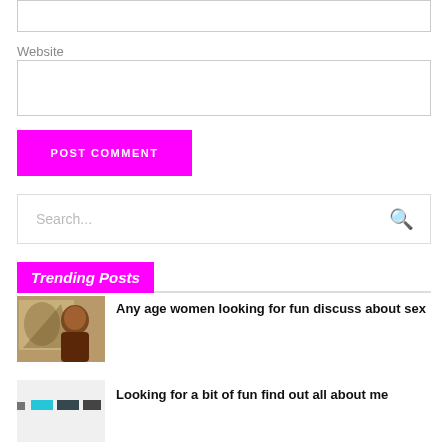[Figure (screenshot): Top input box (text field, empty, with border)]
Website
[Figure (screenshot): Website input box (text field, empty, with border)]
[Figure (screenshot): POST COMMENT button in magenta/fuchsia]
[Figure (screenshot): Search input box with search icon]
Trending Posts
[Figure (photo): Photo of a woman, thumbnail for trending post]
Any age women looking for fun discuss about sex
[Figure (screenshot): Abstract/blurry thumbnail for second trending post]
Looking for a bit of fun find out all about me